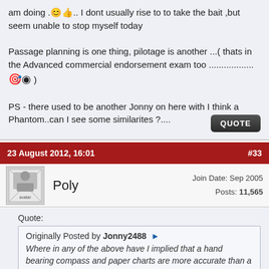am doing 😊... I dont usually rise to to take the bait ,but seem unable to stop myself today

Passage planning is one thing, pilotage is another ...( thats in the Advanced commercial endorsement exam too .................. 🎯 )

PS - there used to be another Jonny on here with I think a Phantom..can I see some similarites ?....
QUOTE
23 August 2012, 16:01   #33
Poly   Join Date: Sep 2005  Posts: 11,565
Quote:
Originally Posted by Jonny2488 >
Where in any of the above have I implied that a hand bearing compass and paper charts are more accurate than a GPS?
well it may have escaped your notice that this thread is about someone running aground. One of their 'lesson learned' was: